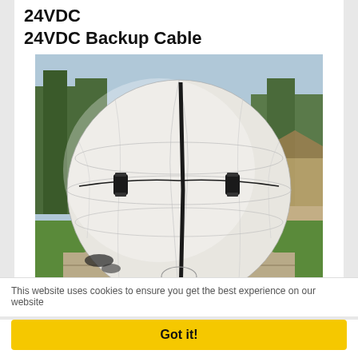24VDC
24VDC Backup Cable
[Figure (photo): Large white inflatable spherical balloon or radome sitting on a tarp on green grass outdoors, with trees in the background. The sphere has black seams and hardware attachments visible on its surface.]
This website uses cookies to ensure you get the best experience on our website
Got it!